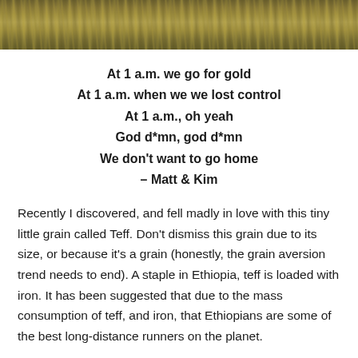[Figure (photo): Top strip of a photograph showing golden grass or grain field from above, with yellow-brown dried grass texture filling the frame.]
At 1 a.m. we go for gold
At 1 a.m. when we we lost control
At 1 a.m., oh yeah
God d*mn, god d*mn
We don't want to go home
– Matt & Kim
Recently I discovered, and fell madly in love with this tiny little grain called Teff. Don't dismiss this grain due to its size, or because it's a grain (honestly, the grain aversion trend needs to end). A staple in Ethiopia, teff is loaded with iron. It has been suggested that due to the mass consumption of teff, and iron, that Ethiopians are some of the best long-distance runners on the planet.